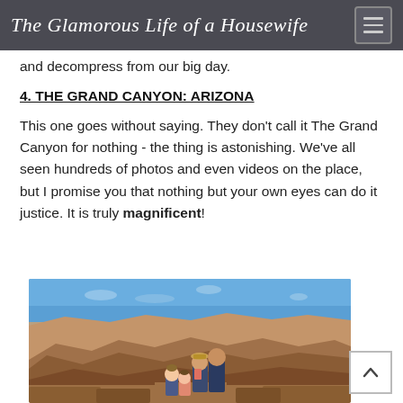The Glamorous Life of a Housewife
and decompress from our big day.
4. THE GRAND CANYON: ARIZONA
This one goes without saying. They don't call it The Grand Canyon for nothing - the thing is astonishing. We've all seen hundreds of photos and even videos on the place, but I promise you that nothing but your own eyes can do it justice. It is truly magnificent!
[Figure (photo): A family of three (two adults and two children) standing at the South Rim of the Grand Canyon, with the vast canyon landscape and red rock formations visible behind them under a clear blue sky.]